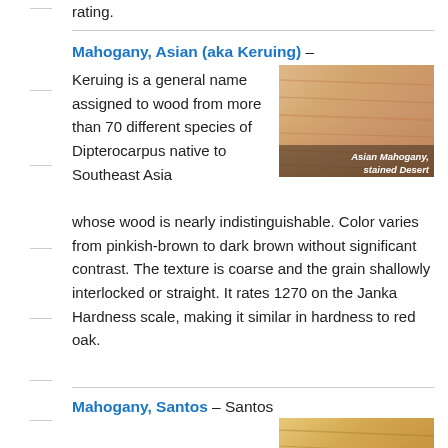rating.
Mahogany, Asian (aka Keruing) –
Keruing is a general name assigned to wood from more than 70 different species of Dipterocarpus native to Southeast Asia whose wood is nearly indistinguishable. Color varies from pinkish-brown to dark brown without significant contrast. The texture is coarse and the grain shallowly interlocked or straight. It rates 1270 on the Janka Hardness scale, making it similar in hardness to red oak.
[Figure (photo): Asian Mahogany stained Desert – close-up photo of Asian Mahogany wood flooring with light pinkish-brown color]
Mahogany, Santos –
Santos Mahogany is a hardwood indigenous to the tropical forests of South America. The color is a rich dark reddish brown with darker striations and fine, oily texture. Grain is straight or wavy and contrast coloring is low but pronounced. It rates high on the Janka Hardness scale at 2200, indicating excellent durability and strength.
[Figure (photo): Santos Mahogany stained Molasses – close-up photo of Santos Mahogany wood flooring with warm golden-tan color]